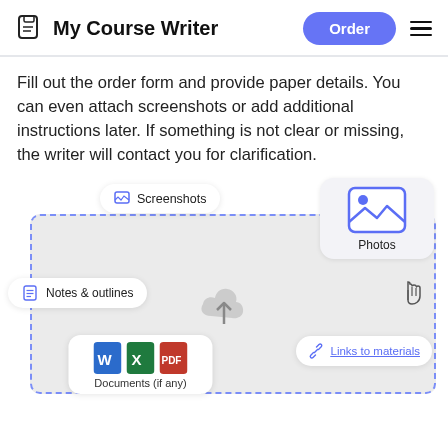My Course Writer — Order
Fill out the order form and provide paper details. You can even attach screenshots or add additional instructions later. If something is not clear or missing, the writer will contact you for clarification.
[Figure (infographic): An infographic showing file attachment options inside a dashed blue border box on a gray background. Items include: Screenshots pill, Notes & outlines pill, Photos card with image icon, a cloud upload icon in center, Documents (if any) card with Word/Excel/PDF icons, and a Links to materials pill. A hand cursor icon is shown near the Photos card.]